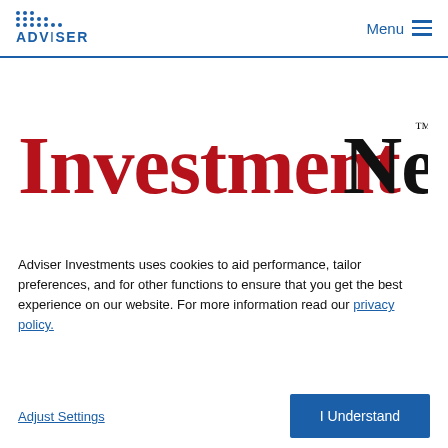ADVISER | Menu
[Figure (logo): InvestmentNews logo — 'Investment' in dark red serif, 'News' in black serif with trademark symbol]
Adviser Investments uses cookies to aid performance, tailor preferences, and for other functions to ensure that you get the best experience on our website. For more information read our privacy policy.
Adjust Settings
I Understand